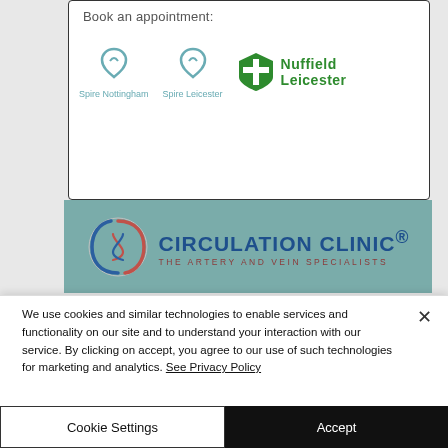Book an appointment:
[Figure (logo): Spire Nottingham logo with heart-shaped icon and text]
[Figure (logo): Spire Leicester logo with heart-shaped icon and text]
[Figure (logo): Nuffield Leicester logo with green shield cross icon and green text]
[Figure (logo): Circulation Clinic - The Artery and Vein Specialists logo on teal background]
We use cookies and similar technologies to enable services and functionality on our site and to understand your interaction with our service. By clicking on accept, you agree to our use of such technologies for marketing and analytics. See Privacy Policy